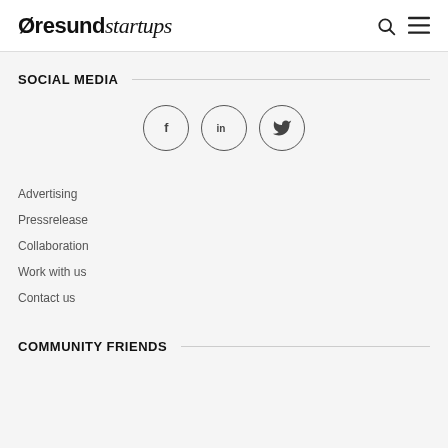Øresundstartups
SOCIAL MEDIA
[Figure (illustration): Three social media icon circles: Facebook (f), LinkedIn (in), Twitter (bird icon)]
Advertising
Pressrelease
Collaboration
Work with us
Contact us
COMMUNITY FRIENDS